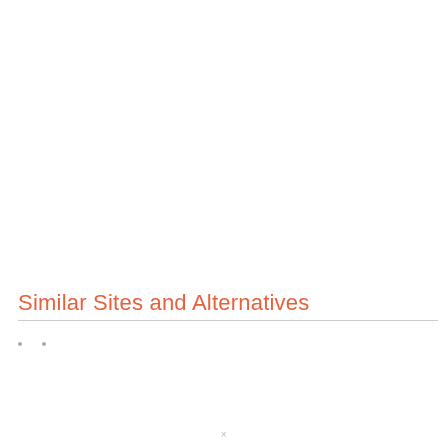Similar Sites and Alternatives
· ·
×